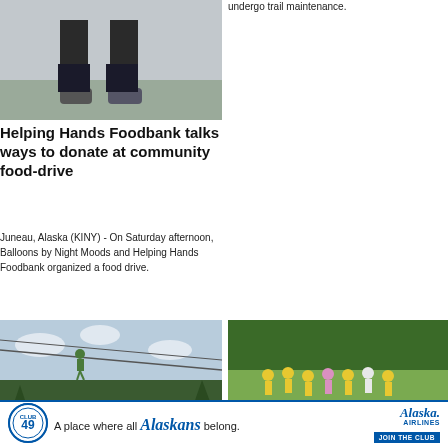[Figure (photo): Close-up of runner's legs and feet on pavement, wearing running shoes]
undergo trail maintenance.
Helping Hands Foodbank talks ways to donate at community food-drive
Juneau, Alaska (KINY) - On Saturday afternoon, Balloons by Night Moods and Helping Hands Foodbank organized a food drive.
[Figure (photo): Person on a zip line or high ropes course against sky background with trees]
[Figure (photo): Group of people in yellow shirts running through a field with trees behind]
Beat the Odds Race Against
[Figure (advertisement): Alaska Airlines Club 49 advertisement: A place where all Alaskans belong. JOIN THE CLUB.]